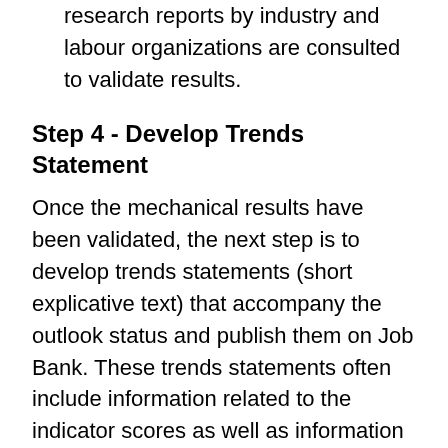research reports by industry and labour organizations are consulted to validate results.
Step 4 - Develop Trends Statement
Once the mechanical results have been validated, the next step is to develop trends statements (short explicative text) that accompany the outlook status and publish them on Job Bank. These trends statements often include information related to the indicator scores as well as information gathered by the economists during the validation stage. Trends